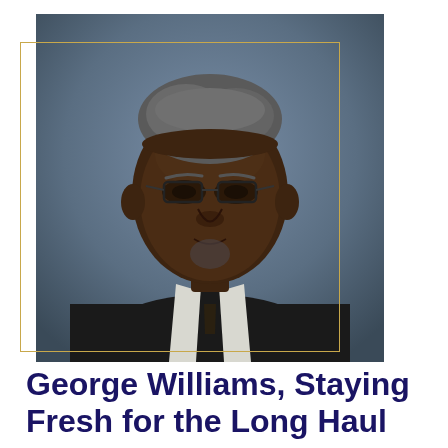[Figure (photo): Portrait photo of a middle-aged Black man wearing glasses, a dark suit, white dress shirt, and dark tie, photographed against a grey studio background. A gold/yellow rectangular border frame partially overlaps the photo.]
George Williams, Staying Fresh for the Long Haul